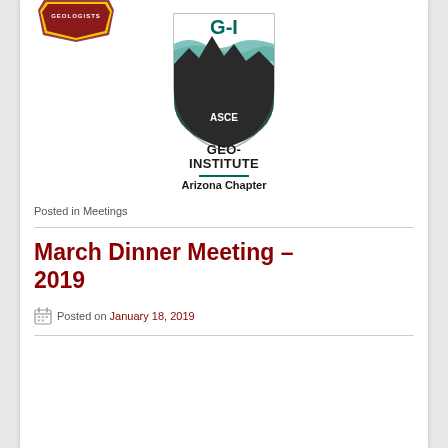[Figure (logo): Arizona Association of Environmental and Engineering Geologists badge logo (partial, top of page)]
[Figure (logo): ASCE Geo-Institute Arizona Chapter shield logo with teal mountain/water design, text G-I and ASCE inside shield, GEO-INSTITUTE below shield with teal underline, Arizona Chapter beneath]
Posted in Meetings
March Dinner Meeting – 2019
Posted on January 18, 2019